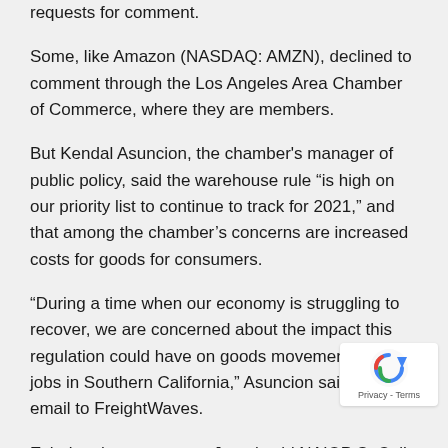requests for comment.
Some, like Amazon (NASDAQ: AMZN), declined to comment through the Los Angeles Area Chamber of Commerce, where they are members.
But Kendal Asuncion, the chamber's manager of public policy, said the warehouse rule “is high on our priority list to continue to track for 2021,” and that among the chamber’s concerns are increased costs for goods for consumers.
“During a time when our economy is struggling to recover, we are concerned about the impact this regulation could have on goods movement and jobs in Southern California,” Asuncion said in an email to FreightWaves.
Echoing that statement, Jemal said NAIOP SoCal’s